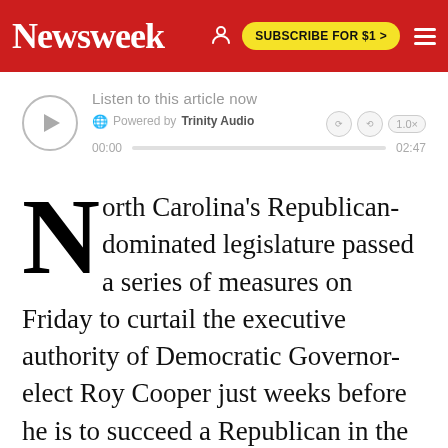Newsweek | SUBSCRIBE FOR $1 >
[Figure (screenshot): Audio player widget: Listen to this article now, Powered by Trinity Audio, play button, time 00:00 / 02:47, progress bar, playback speed 1.0x]
North Carolina's Republican-dominated legislature passed a series of measures on Friday to curtail the executive authority of Democratic Governor-elect Roy Cooper just weeks before he is to succeed a Republican in the executive mansion.